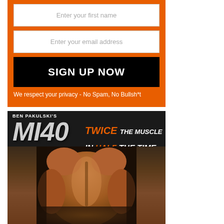Enter your first name
Enter your email address
SIGN UP NOW
We respect your privacy - No Spam, No Bullsh*t
[Figure (illustration): Ben Pakulski's MI40 promotional banner with text 'TWICE THE MUSCLE IN HALF THE TIME' and a muscular bodybuilder torso in silhouette]